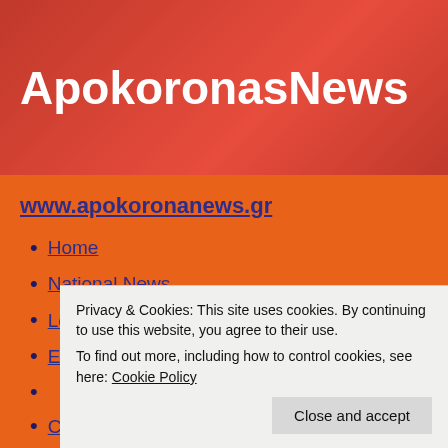ApokoronasNews
www.apokoronanews.gr
Home
National News
Local News
Economy
Comment
Europe
Refugee Crisis
Events
Contact
Privacy & Cookies: This site uses cookies. By continuing to use this website, you agree to their use.
To find out more, including how to control cookies, see here: Cookie Policy
Close and accept